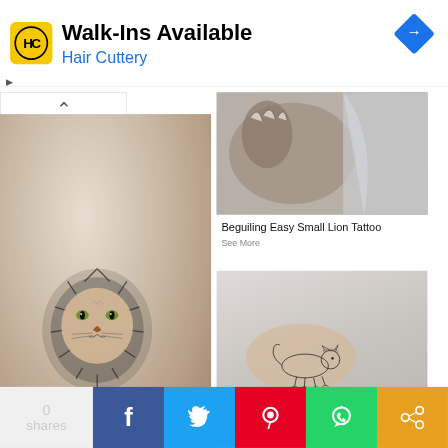[Figure (screenshot): Advertisement banner for Hair Cuttery. Yellow rounded-square logo with HC initials, text 'Walk-Ins Available' in bold black, 'Hair Cuttery' in blue, blue diamond navigation arrow icon top right. Small play/close controls bottom left.]
[Figure (photo): Navigation back button (chevron up) on white rounded bar.]
[Figure (photo): Large photo of a lion face tattoo on a person's wrist/forearm. Black and grey detailed tattoo on pale skin, hand visible, light background.]
[Figure (photo): Partial photo top right showing what appears to be an animal claw or paw tattoo, silver/grey tones.]
Beguiling Easy Small Lion Tattoo
See More
[Figure (photo): Photo of a small realistic walking lion/cat tattoo on a person's forearm. Detailed fine-line black and grey tattoo on skin, grey background.]
[Figure (screenshot): Social sharing bar at bottom with: share count area (0 shares), Facebook (blue), Twitter (light blue), Pinterest (red), WhatsApp (green), share/other (orange) buttons with icons.]